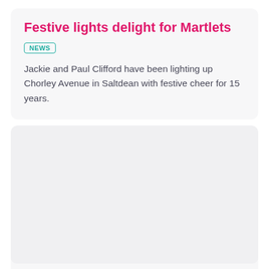Festive lights delight for Martlets
NEWS
Jackie and Paul Clifford have been lighting up Chorley Avenue in Saltdean with festive cheer for 15 years.
[Figure (photo): A large image placeholder area (gray/light background) likely showing festive lights decoration.]
Martlets Brings Light to Loss